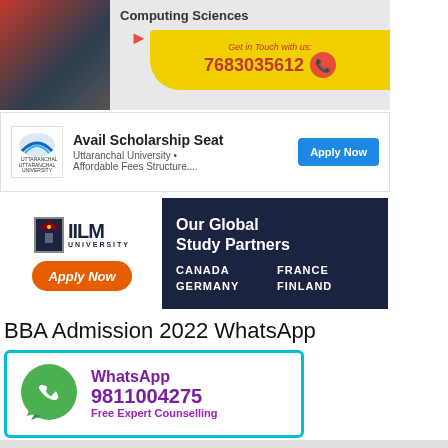[Figure (infographic): Computing Sciences ad with phone number 7683035612 on yellow banner, red forward arrows, person in background]
[Figure (infographic): Uttaranchal University ad: Avail Scholarship Seat, Affordable Fees Structure, Apply Now button in blue]
[Figure (infographic): IILM University ad: Our Global Study Partners - Canada, France, Germany, Finland. Apply Now button in orange on dark navy background]
BBA Admission 2022 WhatsApp
[Figure (infographic): WhatsApp contact box with cyan border, green WhatsApp logo, number 9811004275, Free Expert Counselling text in purple]
[Figure (infographic): B.B.A Admission in India Inquire - gray background banner with white header text]